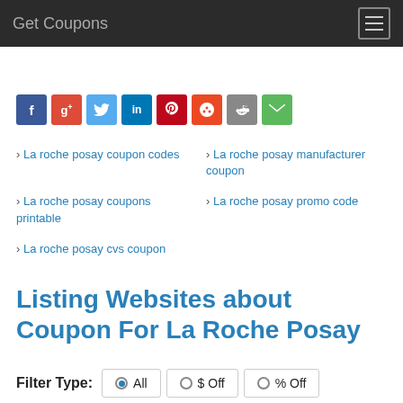Get Coupons
[Figure (other): Social share icons row: Facebook, Google+, Twitter, LinkedIn, Pinterest, StumbleUpon, Reddit, Email]
La roche posay coupon codes
La roche posay manufacturer coupon
La roche posay coupons printable
La roche posay promo code
La roche posay cvs coupon
Listing Websites about Coupon For La Roche Posay
Filter Type: All $ Off % Off